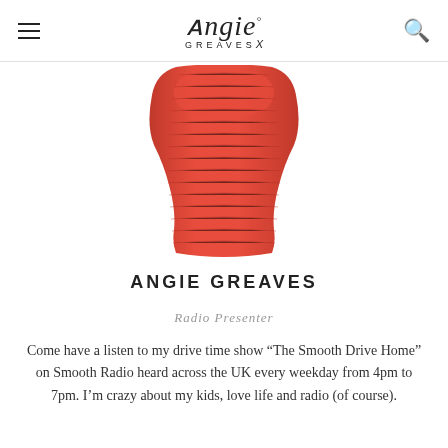Angie Greaves
[Figure (photo): A red ribbed strapless tube top/bandeau garment on a white background, showing torso shape]
ANGIE GREAVES
Radio Presenter
Come have a listen to my drive time show “The Smooth Drive Home” on Smooth Radio heard across the UK every weekday from 4pm to 7pm. I’m crazy about my kids, love life and radio (of course).